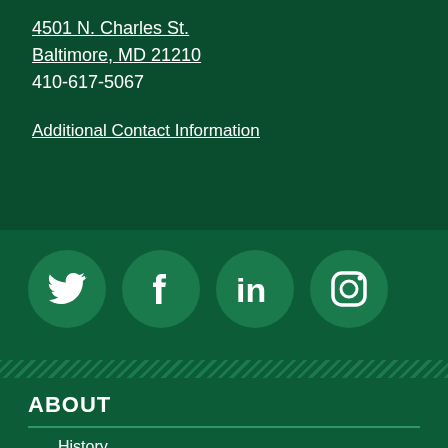4501 N. Charles St.
Baltimore, MD 21210
410-617-5067
Additional Contact Information
[Figure (infographic): Four social media icons (Twitter, Facebook, LinkedIn, Instagram) as white icons on dark green circular backgrounds]
ABOUT
History
y
of Sponsors